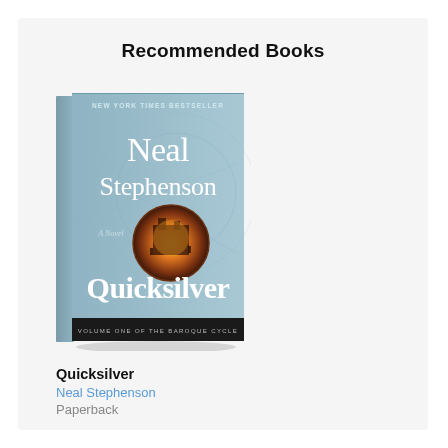Recommended Books
[Figure (illustration): Book cover of 'Quicksilver' by Neal Stephenson. Teal/grey cover with large white serif author name 'Neal Stephenson' at top, title 'Quicksilver' at bottom in large white text, a central circular image showing a burning building scene, small text 'NEW YORK TIMES BESTSELLER' at top and 'VOLUME ONE OF THE BAROQUE CYCLE' at bottom.]
Quicksilver
Neal Stephenson
Paperback